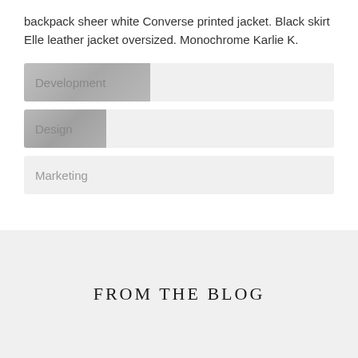backpack sheer white Converse printed jacket. Black skirt Elle leather jacket oversized. Monochrome Karlie K.
Development
Design
Marketing
FROM THE BLOG